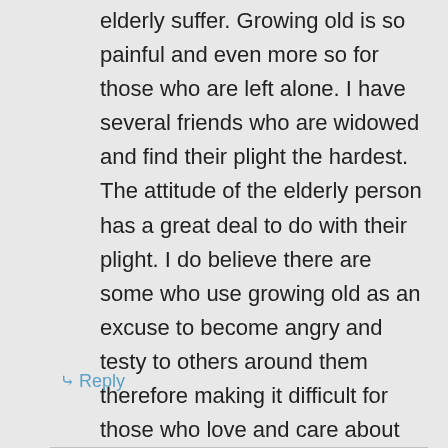elderly suffer. Growing old is so painful and even more so for those who are left alone. I have several friends who are widowed and find their plight the hardest. The attitude of the elderly person has a great deal to do with their plight. I do believe there are some who use growing old as an excuse to become angry and testy to others around them therefore making it difficult for those who love and care about them. It’s important at any age to do unto others. Hope today goes well for you. Love ya much, Sue
Reply